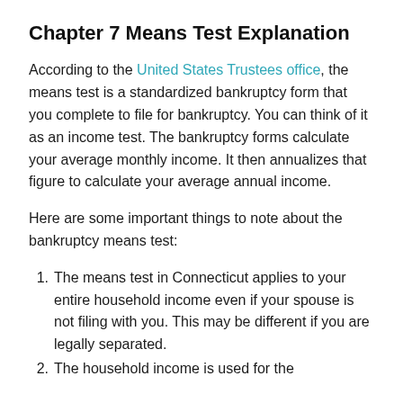Chapter 7 Means Test Explanation
According to the United States Trustees office, the means test is a standardized bankruptcy form that you complete to file for bankruptcy. You can think of it as an income test. The bankruptcy forms calculate your average monthly income. It then annualizes that figure to calculate your average annual income.
Here are some important things to note about the bankruptcy means test:
The means test in Connecticut applies to your entire household income even if your spouse is not filing with you. This may be different if you are legally separated.
The household income is used for the